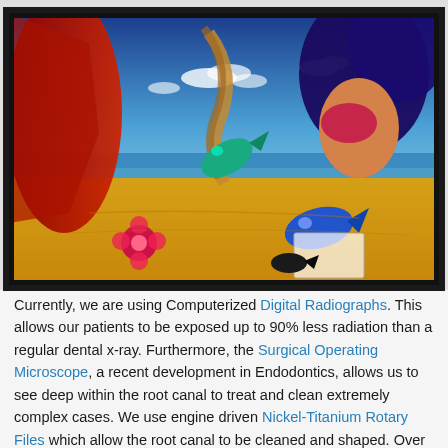[Figure (illustration): Surrealist painting depicting a beach scene with a figure whose hair blends into the sky, colorful fish, a red flower, and sandy landscape under a blue sky with clouds. Red abstract shape on the left. Dark framed painting.]
Currently, we are using Computerized Digital Radiographs. This allows our patients to be exposed up to 90% less radiation than a regular dental x-ray. Furthermore, the Surgical Operating Microscope, a recent development in Endodontics, allows us to see deep within the root canal to treat and clean extremely complex cases. We use engine driven Nickel-Titanium Rotary Files which allow the root canal to be cleaned and shaped. Over the past several years, Endodontics has been vastly improved by modern technology